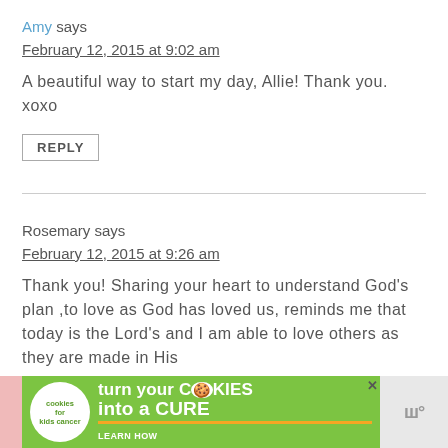Amy says
February 12, 2015 at 9:02 am
A beautiful way to start my day, Allie! Thank you. xoxo
REPLY
Rosemary says
February 12, 2015 at 9:26 am
Thank you! Sharing your heart to understand God's plan ,to love as God has loved us, reminds me that today is the Lord's and I am able to love others as they are made in His
[Figure (infographic): Advertisement banner for Cookies for Kids' Cancer: green background with cookie logo, text 'turn your COOKIES into a CURE LEARN HOW', with pink left strip and gray right section with triple-W logo]